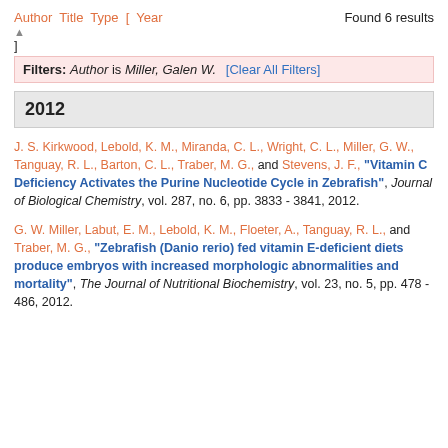Author Title Type [ Year    Found 6 results
]
Filters: Author is Miller, Galen W.  [Clear All Filters]
2012
J. S. Kirkwood, Lebold, K. M., Miranda, C. L., Wright, C. L., Miller, G. W., Tanguay, R. L., Barton, C. L., Traber, M. G., and Stevens, J. F., "Vitamin C Deficiency Activates the Purine Nucleotide Cycle in Zebrafish", Journal of Biological Chemistry, vol. 287, no. 6, pp. 3833 - 3841, 2012.
G. W. Miller, Labut, E. M., Lebold, K. M., Floeter, A., Tanguay, R. L., and Traber, M. G., "Zebrafish (Danio rerio) fed vitamin E-deficient diets produce embryos with increased morphologic abnormalities and mortality", The Journal of Nutritional Biochemistry, vol. 23, no. 5, pp. 478 - 486, 2012.